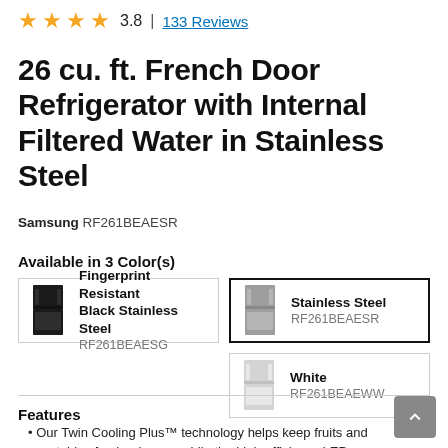3.8 | 133 Reviews
26 cu. ft. French Door Refrigerator with Internal Filtered Water in Stainless Steel
Samsung RF261BEAESR
Available in 3 Color(s)
Fingerprint Resistant Black Stainless Steel RF261BEAESG
Stainless Steel RF261BEAESR
White RF261BEAEWW
Features
Our Twin Cooling Plus™ technology helps keep fruits and vegetables fresher longer, while the high-efficiency LEDs beautifully illuminate